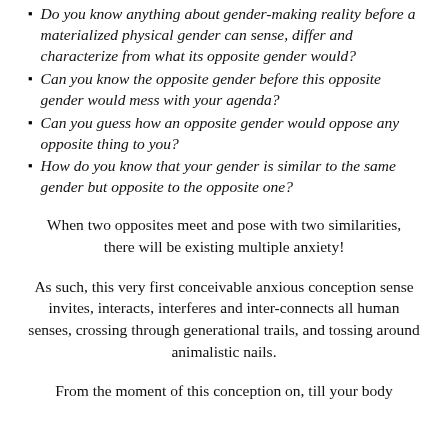Do you know anything about gender-making reality before a materialized physical gender can sense, differ and characterize from what its opposite gender would?
Can you know the opposite gender before this opposite gender would mess with your agenda?
Can you guess how an opposite gender would oppose any opposite thing to you?
How do you know that your gender is similar to the same gender but opposite to the opposite one?
When two opposites meet and pose with two similarities, there will be existing multiple anxiety!
As such, this very first conceivable anxious conception sense invites, interacts, interferes and inter-connects all human senses, crossing through generational trails, and tossing around animalistic nails.
From the moment of this conception on, till your body